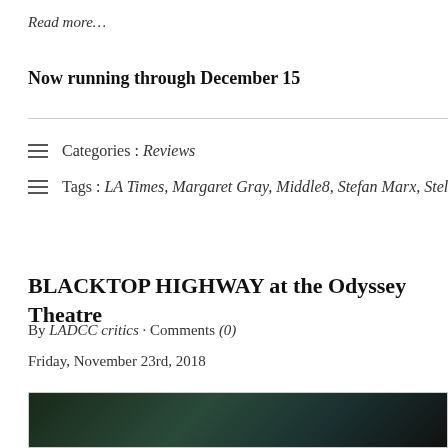Read more…
Now running through December 15
Categories : Reviews
Tags : LA Times, Margaret Gray, Middle8, Stefan Marx, Stel…
BLACKTOP HIGHWAY at the Odyssey Theatre
By LADCC critics · Comments (0)
Friday, November 23rd, 2018
[Figure (photo): Dark theatrical photo, partially visible at bottom of page]